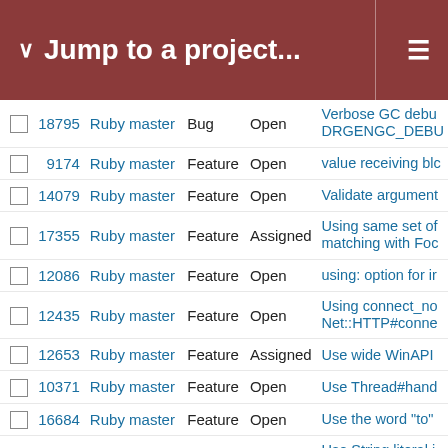Jump to a project...
|  | # | Project | Type | Status | Description |
| --- | --- | --- | --- | --- | --- |
|  | 18795 | Ruby master | Bug | Open | Verbose GC debu DRGENGC_DEBU |
|  | 9174 | Ruby master | Feature | Open | value receiving blc |
|  | 14079 | Ruby master | Feature | Open | Validate argument |
|  | 17355 | Ruby master | Feature | Assigned | Using same set of matching with Foc |
|  | 12086 | Ruby master | Feature | Open | using: option for ir |
|  | 12435 | Ruby master | Feature | Open | Using connect_no Net::HTTP#conne |
|  | 12653 | Ruby master | Feature | Assigned | Use wide WinAPI |
|  | 10371 | Ruby master | Feature | Open | Use Thread#hand |
|  | 16684 | Ruby master | Feature | Open | Use the word "to" |
|  | 13047 | Ruby master | Feature | Assigned | Use String literal i pretty-printing of n |
|  | 12928 | Ruby master | Feature | Open | Use socket conect open_timeout |
|  | 18369 | Ruby master | Feature | Open | users.detect(:nam users.detect { |use |
|  | 10755 | Ruby master | Feature | Open | Use rb_define_alic rb_cHash |